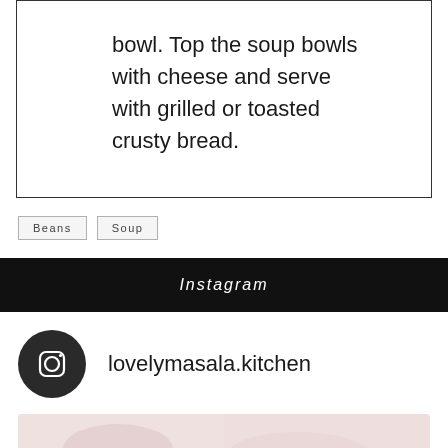bowl. Top the soup bowls with cheese and serve with grilled or toasted crusty bread.
Beans
Soup
Instagram
lovelymasala.kitchen
[Figure (photo): Food photo strip at the bottom of the page showing a meal, with a multi-image icon overlay in the bottom right corner.]